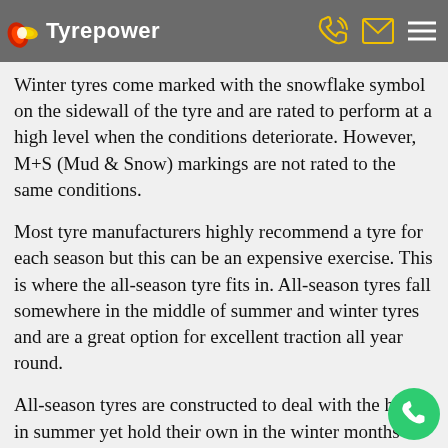unique tread design.
Tyrepower
Winter tyres come marked with the snowflake symbol on the sidewall of the tyre and are rated to perform at a high level when the conditions deteriorate. However, M+S (Mud & Snow) markings are not rated to the same conditions.
Most tyre manufacturers highly recommend a tyre for each season but this can be an expensive exercise. This is where the all-season tyre fits in. All-season tyres fall somewhere in the middle of summer and winter tyres and are a great option for excellent traction all year round.
All-season tyres are constructed to deal with the heat in summer yet hold their own in the winter months when the temperature falls below 7. All-season tyres are essential intermediate tyres. They perform well in all weather conditions but in areas where the seasons are more extreme, are not as effective as